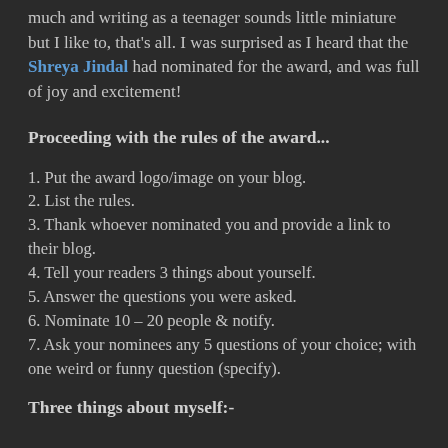much and writing as a teenager sounds little miniature but I like to, that's all. I was surprised as I heard that the Shreya Jindal had nominated for the award, and was full of joy and excitement!
Proceeding with the rules of the award...
1. Put the award logo/image on your blog.
2. List the rules.
3. Thank whoever nominated you and provide a link to their blog.
4. Tell your readers 3 things about yourself.
5. Answer the questions you were asked.
6. Nominate 10 – 20 people & notify.
7. Ask your nominees any 5 questions of your choice; with one weird or funny question (specify).
Three things about myself:-